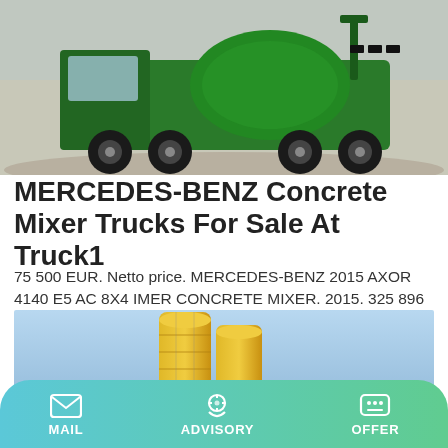[Figure (photo): Green concrete mixer truck on a gravel/construction site background]
MERCEDES-BENZ Concrete Mixer Trucks For Sale At Truck1
75 500 EUR. Netto price. MERCEDES-BENZ 2015 AXOR 4140 E5 AC 8X4 IMER CONCRETE MIXER. 2015. 325 896 km. 393 hp. Online: 2d. ERCAL TRUCKS. Turkey, Ankara.
Learn More
[Figure (photo): Two tall yellow industrial silos/cement towers against a blue sky background]
MAIL   ADVISORY   OFFER